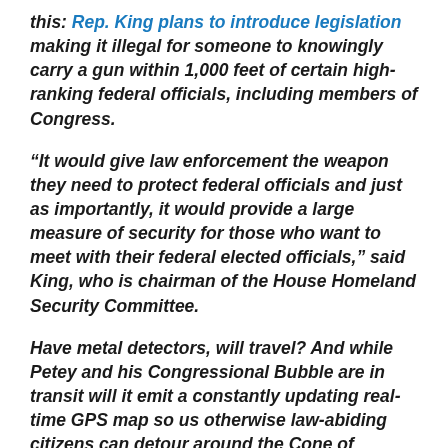this: Rep. King plans to introduce legislation making it illegal for someone to knowingly carry a gun within 1,000 feet of certain high-ranking federal officials, including members of Congress.
“It would give law enforcement the weapon they need to protect federal officials and just as importantly, it would provide a large measure of security for those who want to meet with their federal elected officials,” said King, who is chairman of the House Homeland Security Committee.
Have metal detectors, will travel? And while Petey and his Congressional Bubble are in transit will it emit a constantly updating real-time GPS map so us otherwise law-abiding citizens can detour around the Cone of Insanity?